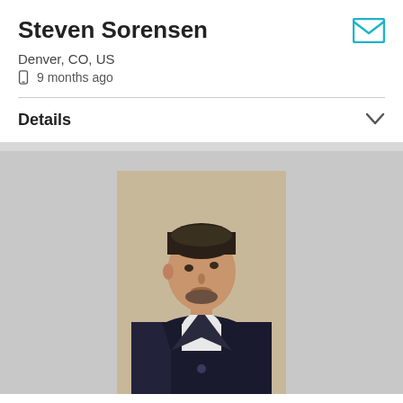Steven Sorensen
Denver, CO, US
9 months ago
Details
[Figure (photo): Profile photo of a young man with dark short hair, wearing a black coat over a white hoodie, leaning against a light-colored wall, looking to the side.]